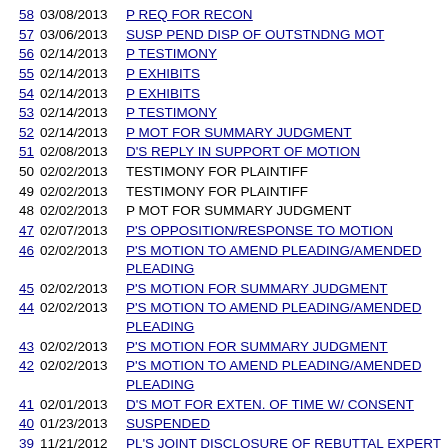58  03/08/2013  P REQ FOR RECON
57  03/06/2013  SUSP PEND DISP OF OUTSTNDNG MOT
56  02/14/2013  P TESTIMONY
55  02/14/2013  P EXHIBITS
54  02/14/2013  P EXHIBITS
53  02/14/2013  P TESTIMONY
52  02/14/2013  P MOT FOR SUMMARY JUDGMENT
51  02/08/2013  D'S REPLY IN SUPPORT OF MOTION
50  02/02/2013  TESTIMONY FOR PLAINTIFF
49  02/02/2013  TESTIMONY FOR PLAINTIFF
48  02/02/2013  P MOT FOR SUMMARY JUDGMENT
47  02/07/2013  P'S OPPOSITION/RESPONSE TO MOTION
46  02/02/2013  P'S MOTION TO AMEND PLEADING/AMENDED PLEADING
45  02/02/2013  P'S MOTION FOR SUMMARY JUDGMENT
44  02/02/2013  P'S MOTION TO AMEND PLEADING/AMENDED PLEADING
43  02/02/2013  P'S MOTION FOR SUMMARY JUDGMENT
42  02/02/2013  P'S MOTION TO AMEND PLEADING/AMENDED PLEADING
41  02/01/2013  D'S MOT FOR EXTEN. OF TIME W/ CONSENT
40  01/23/2013  SUSPENDED
39  11/21/2012  PL'S JOINT DISCLOSURE OF REBUTTAL EXPERT WITNESSES